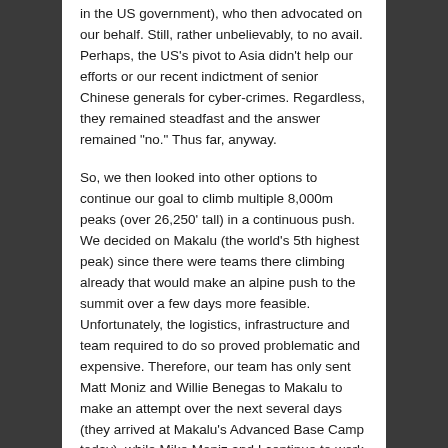in the US government), who then advocated on our behalf. Still, rather unbelievably, to no avail. Perhaps, the US's pivot to Asia didn't help our efforts or our recent indictment of senior Chinese generals for cyber-crimes. Regardless, they remained steadfast and the answer remained “no.” Thus far, anyway.
So, we then looked into other options to continue our goal to climb multiple 8,000m peaks (over 26,250’ tall) in a continuous push. We decided on Makalu (the world’s 5th highest peak) since there were teams there climbing already that would make an alpine push to the summit over a few days more feasible. Unfortunately, the logistics, infrastructure and team required to do so proved problematic and expensive. Therefore, our team has only sent Matt Moniz and Willie Benegas to Makalu to make an attempt over the next several days (they arrived at Makalu’s Advanced Base Camp today), while Mike Moniz and I continue to work toward a Chinese permit to climb Everest — however unlikely it is at this point. We are acclimatized, and will remain so for a couple of weeks, should the elusive permit be granted, and we continue to